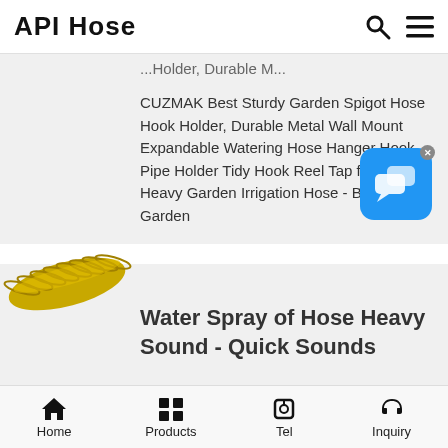API Hose
...Holder, Durable M...
CUZMAK Best Sturdy Garden Spigot Hose Hook Holder, Durable Metal Wall Mount Expandable Watering Hose Hanger Hook, Pipe Holder Tidy Hook Reel Tap for 100ft Heavy Garden Irrigation Hose - Black : .au: Garden
[Figure (illustration): Blue chat/messaging app icon with speech bubbles and X close button]
[Figure (photo): Yellow corrugated garden hose]
Water Spray of Hose Heavy Sound - Quick Sounds
Download Water Spray of Hose Heavy sound effect in mp3 format for free without login or sign-up and find similar sounds at Quick Sounds library.
Home   Products   Tel   Inquiry